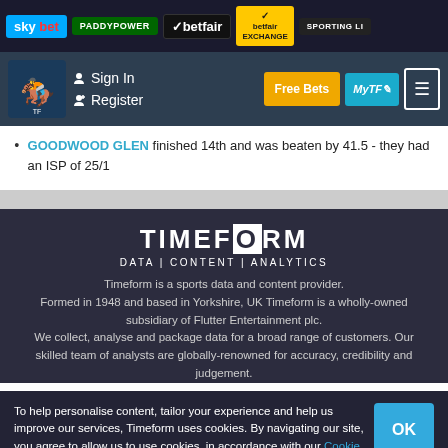sky bet | PADDYPOWER | betfair | betfair EXCHANGE | SPORTING LI...
Sign In | Register | Free Bets | MyTF | menu
GOODWOOD GLEN finished 14th and was beaten by 41.5 - they had an ISP of 25/1
[Figure (logo): TIMEFORM logo with tagline DATA | CONTENT | ANALYTICS]
Timeform is a sports data and content provider. Formed in 1948 and based in Yorkshire, UK Timeform is a wholly-owned subsidiary of Flutter Entertainment plc. We collect, analyse and package data for a broad range of customers. Our skilled team of analysts are globally-renowned for accuracy, credibility and judgement.
To help personalise content, tailor your experience and help us improve our services, Timeform uses cookies. By navigating our site, you agree to allow us to use cookies, in accordance with our Cookie Policy and Privacy Policy.